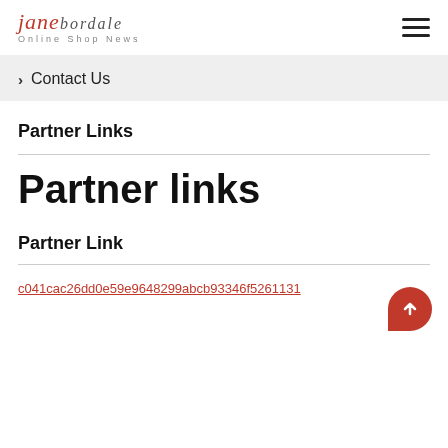janebordale Online Shop News
> Contact Us
Partner Links
Partner links
Partner Link
c041cac26dd0e59e9648299abcb93346f5261131